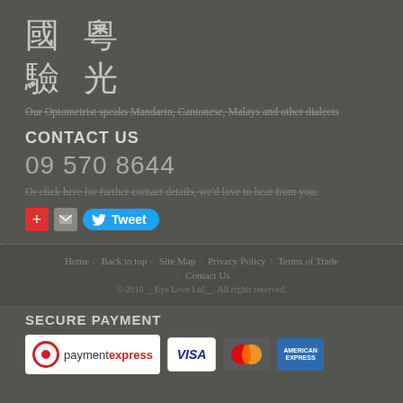國粵驗光
Our Optometrist speaks Mandarin, Cantonese, Malays and other dialects
CONTACT US
09 570 8644
Or click here for further contact details, we'd love to hear from you.
[Figure (other): Social sharing buttons: Google+, Email, Tweet]
Home / Back to top / Site Map / Privacy Policy / Terms of Trade / Contact Us
© 2010 __Eye Love Ltd__. All rights reserved.
SECURE PAYMENT
[Figure (other): Payment logos: PaymentExpress, Visa, MasterCard, American Express]